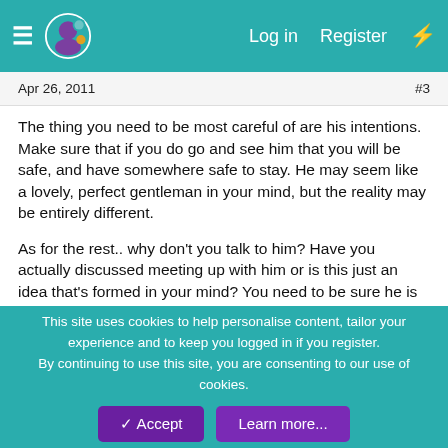≡ [Logo] Log in  Register  ⚡
Apr 26, 2011	#3
The thing you need to be most careful of are his intentions. Make sure that if you do go and see him that you will be safe, and have somewhere safe to stay. He may seem like a lovely, perfect gentleman in your mind, but the reality may be entirely different.
As for the rest.. why don't you talk to him? Have you actually discussed meeting up with him or is this just an idea that's formed in your mind? You need to be sure he is willing to meet first, before you even consider making plans to visit. I was actually in a very similar situation myself not too long ago where I wanted to meet up with an online friend of five years for the first time, but like it is for you, he barely replied half the time and
This site uses cookies to help personalise content, tailor your experience and to keep you logged in if you register.
By continuing to use this site, you are consenting to our use of cookies.